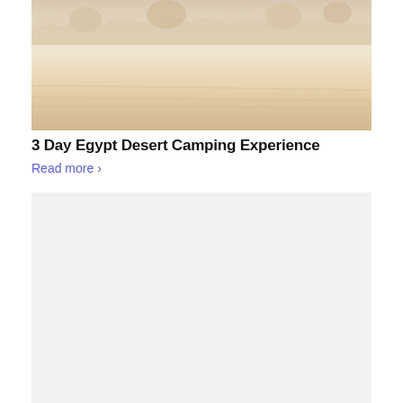[Figure (photo): Desert landscape photo showing sandy dunes and rock formations in warm beige and tan tones, Egypt White Desert]
3 Day Egypt Desert Camping Experience
Read more ›
[Figure (photo): Second image placeholder, light gray background, content loading or blank]